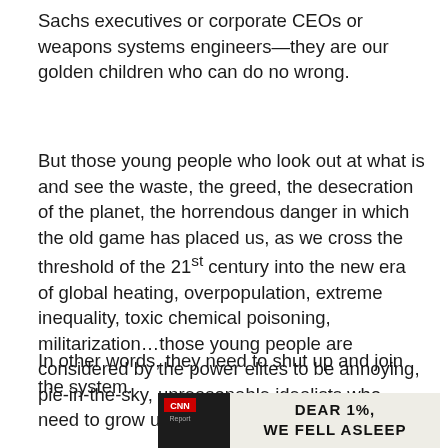Sachs executives or corporate CEOs or weapons systems engineers—they are our golden children who can do no wrong.
But those young people who look out at what is and see the waste, the greed, the desecration of the planet, the horrendous danger in which the old game has placed us, as we cross the threshold of the 21st century into the new era of global heating, overpopulation, extreme inequality, toxic chemical poisoning, militarization…those young people are considered by the power elites to be annoying, pie-in-the-sky, unreasonable idealists who need to grow up and get a job.
In other words, they need to shut up and join the system.
[Figure (photo): CNN Report advertisement image showing 'DEAR 1%, WE FELL ASLEEP' text on a banner or sign, with building visible in background]